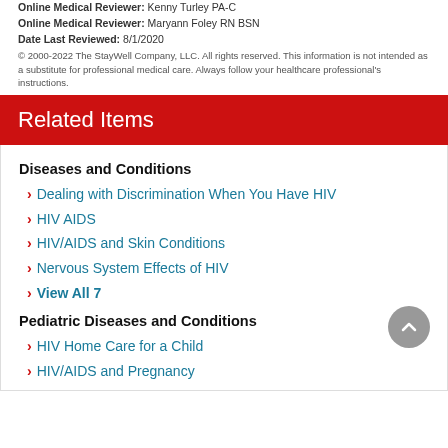Online Medical Reviewer: Kenny Turley PA-C
Online Medical Reviewer: Maryann Foley RN BSN
Date Last Reviewed: 8/1/2020
© 2000-2022 The StayWell Company, LLC. All rights reserved. This information is not intended as a substitute for professional medical care. Always follow your healthcare professional's instructions.
Related Items
Diseases and Conditions
Dealing with Discrimination When You Have HIV
HIV AIDS
HIV/AIDS and Skin Conditions
Nervous System Effects of HIV
View All 7
Pediatric Diseases and Conditions
HIV Home Care for a Child
HIV/AIDS and Pregnancy